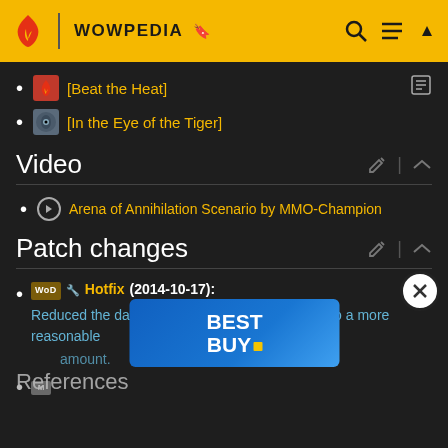WOWPEDIA
[Beat the Heat]
[In the Eye of the Tiger]
Video
Arena of Annihilation Scenario by MMO-Champion
Patch changes
Hotfix (2014-10-17): Reduced the damage of Little Liuyang's Fireball to a more reasonable amount.
[Figure (other): Best Buy advertisement banner with blue gradient background and white BEST BUY logo text]
References